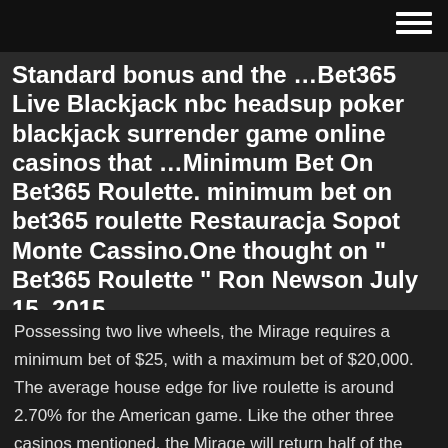Standard bonus and the …Bet365 Live Blackjack nbc headsup poker blackjack surrender game online casinos that …Minimum Bet On Bet365 Roulette. minimum bet on bet365 roulette Restauracja Sopot Monte Cassino.One thought on " Bet365 Roulette " Ron Newson July 15, 2015.
Possessing two live wheels, the Mirage requires a minimum bet of $25, with a maximum bet of $20,000. The average house edge for live roulette is around 2.70% for the American game. Like the other three casinos mentioned, the Mirage will return half of the money bet (Black or Red) when the 0 comes up. Bet365 roulette minimum bet : Best casino sites 2015 – www – Ratings you would expect such